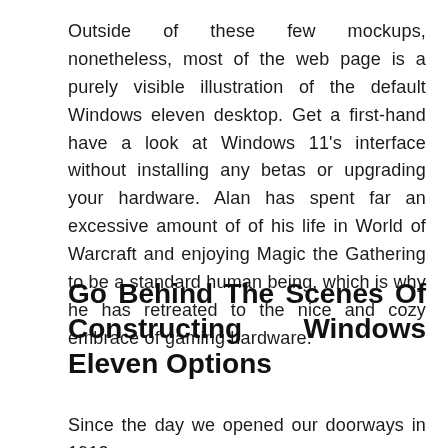Outside of these few mockups, nonetheless, most of the web page is a purely visible illustration of the default Windows eleven desktop. Get a first-hand have a look at Windows 11's interface without installing any betas or upgrading your hardware. Alan has spent far an excessive amount of of his life in World of Warcraft and enjoying Magic the Gathering to be a standard human being, which is why he has retreated to the nice and cozy embrace of gaming hardware.
Go Behind The Scenes Of Constructing Windows Eleven Options
Since the day we opened our doorways in 1912 as